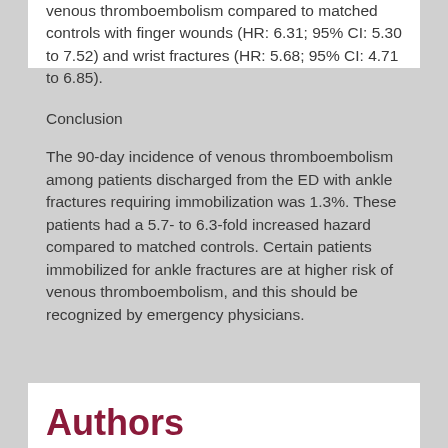venous thromboembolism compared to matched controls with finger wounds (HR: 6.31; 95% CI: 5.30 to 7.52) and wrist fractures (HR: 5.68; 95% CI: 4.71 to 6.85).
Conclusion
The 90-day incidence of venous thromboembolism among patients discharged from the ED with ankle fractures requiring immobilization was 1.3%. These patients had a 5.7- to 6.3-fold increased hazard compared to matched controls. Certain patients immobilized for ankle fractures are at higher risk of venous thromboembolism, and this should be recognized by emergency physicians.
Authors